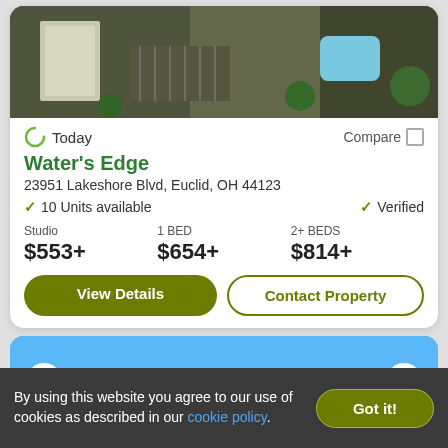[Figure (photo): Aerial photograph of apartment complex with parking lot and pool, showing '1 of 21' counter]
Today
Compare
Water's Edge
23951 Lakeshore Blvd, Euclid, OH 44123
10 Units available
Verified
Studio
$553+
1 BED
$654+
2+ BEDS
$814+
View Details
Contact Property
[Figure (photo): Second property listing card with blue sky and tree photo, play button and heart/favorite icon]
By using this website you agree to our use of cookies as described in our cookie policy.
Got it!